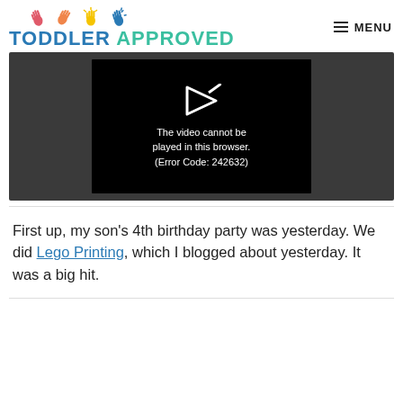TODDLER APPROVED  MENU
[Figure (screenshot): Video player showing error message: The video cannot be played in this browser. (Error Code: 242632)]
First up, my son's 4th birthday party was yesterday. We did Lego Printing, which I blogged about yesterday. It was a big hit.